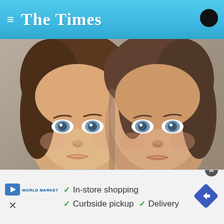The Times
[Figure (photo): Close-up photo of two young twin girls with brown hair and blue/grey eyes, faces close together, looking at camera]
These Twins Were Named "Most Beautiful in the World," Wait Till You See Them Now
Ad by popcornews.com
[Figure (photo): Partial strip of a second photo showing trees/outdoor scene]
[Figure (screenshot): Bottom advertisement banner: World Market ad with checkmarks for In-store shopping, Curbside pickup, Delivery, and a blue diamond with arrow icon]